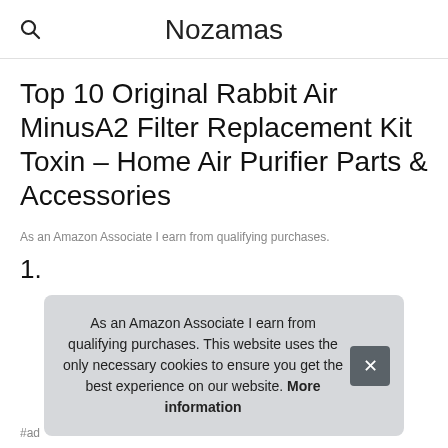Nozamas
Top 10 Original Rabbit Air MinusA2 Filter Replacement Kit Toxin – Home Air Purifier Parts & Accessories
As an Amazon Associate I earn from qualifying purchases.
1.
As an Amazon Associate I earn from qualifying purchases. This website uses the only necessary cookies to ensure you get the best experience on our website. More information
#ad